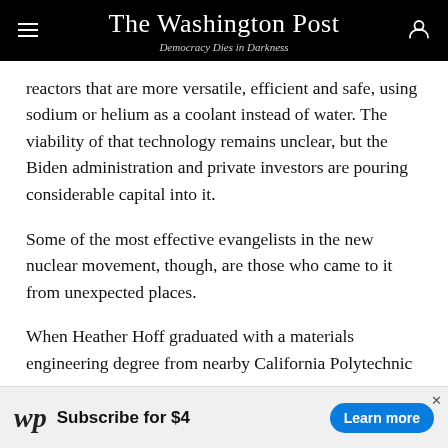The Washington Post — Democracy Dies in Darkness
reactors that are more versatile, efficient and safe, using sodium or helium as a coolant instead of water. The viability of that technology remains unclear, but the Biden administration and private investors are pouring considerable capital into it.
Some of the most effective evangelists in the new nuclear movement, though, are those who came to it from unexpected places.
When Heather Hoff graduated with a materials engineering degree from nearby California Polytechnic State University in San Luis Obispo, she had no interest in...
[Figure (other): Washington Post subscription advertisement banner: 'Subscribe for $4' with 'Learn more' button and WP logo]